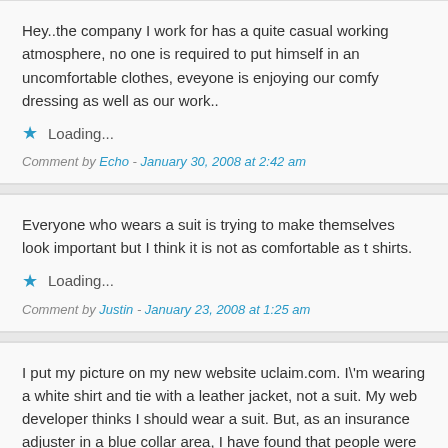Hey..the company I work for has a quite casual working atmosphere, no one is required to put himself in an uncomfortable clothes, eveyone is enjoying our comfy dressing as well as our work..
Loading...
Comment by Echo - January 30, 2008 at 2:42 am
Everyone who wears a suit is trying to make themselves look important but I think it is not as comfortable as t shirts.
Loading...
Comment by Justin - January 23, 2008 at 1:25 am
I put my picture on my new website uclaim.com. I\'m wearing a white shirt and tie with a leather jacket, not a suit. My web developer thinks I should wear a suit. But, as an insurance adjuster in a blue collar area, I have found that people were less trusting when I showed up